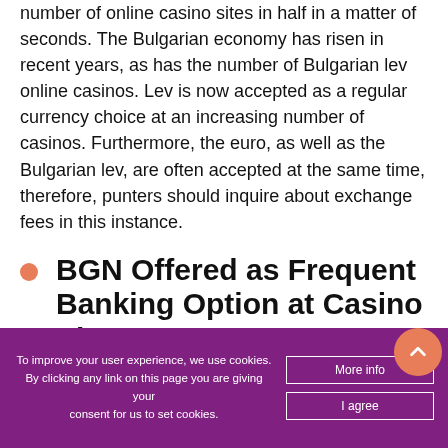number of online casino sites in half in a matter of seconds. The Bulgarian economy has risen in recent years, as has the number of Bulgarian lev online casinos. Lev is now accepted as a regular currency choice at an increasing number of casinos. Furthermore, the euro, as well as the Bulgarian lev, are often accepted at the same time, therefore, punters should inquire about exchange fees in this instance.
BGN Offered as Frequent Banking Option at Casino Sites
Bulgarian lev online casinos offer it as a frequent banking option because it's the most widely used
To improve your user experience, we use cookies. By clicking any link on this page you are giving your consent for us to set cookies.